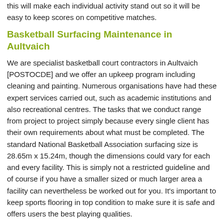this will make each individual activity stand out so it will be easy to keep scores on competitive matches.
Basketball Surfacing Maintenance in Aultvaich
We are specialist basketball court contractors in Aultvaich [POSTOCDE] and we offer an upkeep program including cleaning and painting. Numerous organisations have had these expert services carried out, such as academic institutions and also recreational centres. The tasks that we conduct range from project to project simply because every single client has their own requirements about what must be completed. The standard National Basketball Association surfacing size is 28.65m x 15.24m, though the dimensions could vary for each and every facility. This is simply not a restricted guideline and of course if you have a smaller sized or much larger area a facility can nevertheless be worked out for you. It's important to keep sports flooring in top condition to make sure it is safe and offers users the best playing qualities.
There's two different types of repairs and maintenance for basketball court surfaces, proactive and reactive. We highly